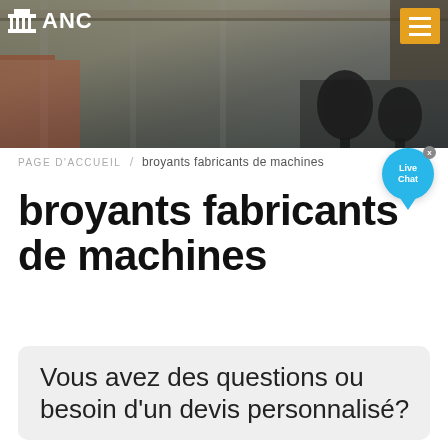[Figure (photo): Industrial factory background photo with machinery and microphones in foreground, used as website header banner]
ANC
PAGE D'ACCUEIL / broyants fabricants de machines
broyants fabricants de machines
Vous avez des questions ou besoin d'un devis personnalisé?